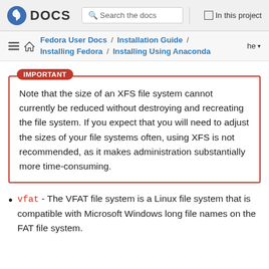Fedora DOCS | Search the docs | In this project
Fedora User Docs / Installation Guide / Installing Fedora / Installing Using Anaconda | he
IMPORTANT
Note that the size of an XFS file system cannot currently be reduced without destroying and recreating the file system. If you expect that you will need to adjust the sizes of your file systems often, using XFS is not recommended, as it makes administration substantially more time-consuming.
vfat - The VFAT file system is a Linux file system that is compatible with Microsoft Windows long file names on the FAT file system.